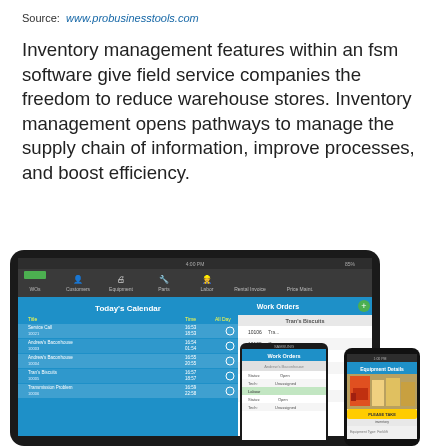Source:  www.probusinesstools.com
Inventory management features within an fsm software give field service companies the freedom to reduce warehouse stores. Inventory management opens pathways to manage the supply chain of information, improve processes, and boost efficiency.
[Figure (screenshot): Screenshot of a field service management software interface shown on a tablet, a Samsung Android phone, and an iPhone. The tablet shows a calendar view labeled 'Today's Calendar' with service call entries and a 'Work Orders' panel. The two phones show work order and equipment details screens.]